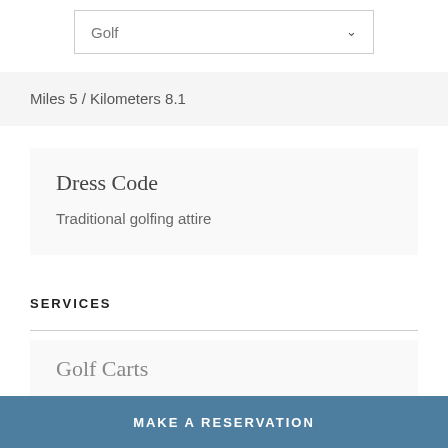[Figure (screenshot): Dropdown selector showing 'Golf' with a chevron arrow]
Miles 5 / Kilometers 8.1
Dress Code
Traditional golfing attire
SERVICES
Golf Carts
MAKE A RESERVATION